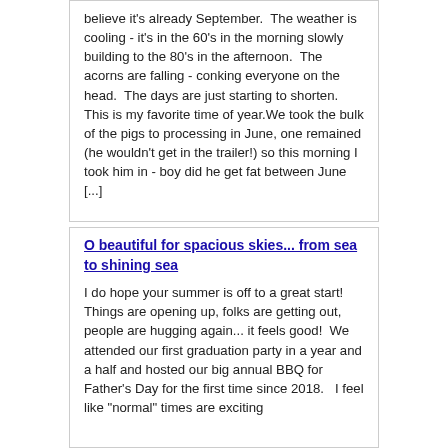believe it's already September.  The weather is cooling - it's in the 60's in the morning slowly building to the 80's in the afternoon.  The acorns are falling - conking everyone on the head.  The days are just starting to shorten.  This is my favorite time of year.We took the bulk of the pigs to processing in June, one remained (he wouldn't get in the trailer!) so this morning I took him in - boy did he get fat between June [...]
O beautiful for spacious skies... from sea to shining sea
I do hope your summer is off to a great start!  Things are opening up, folks are getting out, people are hugging again... it feels good!  We attended our first graduation party in a year and a half and hosted our big annual BBQ for Father's Day for the first time since 2018.   I feel like "normal" times are exciting